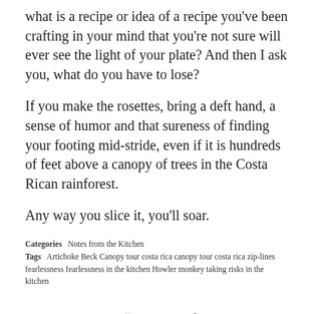what is a recipe or idea of a recipe you've been crafting in your mind that you're not sure will ever see the light of your plate? And then I ask you, what do you have to lose?
If you make the rosettes, bring a deft hand, a sense of humor and that sureness of finding your footing mid-stride, even if it is hundreds of feet above a canopy of trees in the Costa Rican rainforest.
Any way you slice it, you'll soar.
Categories   Notes from the Kitchen
Tags   Artichoke Beck Canopy tour costa rica canopy tour costa rica ziplines fearlessness fearlessness in the kitchen Howler monkey taking risks in the kitchen
3 comments on “On being fearless outside &